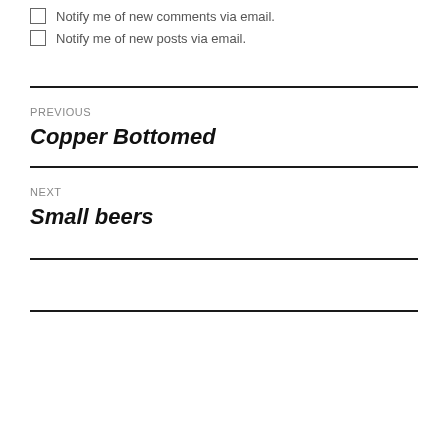Notify me of new comments via email.
Notify me of new posts via email.
PREVIOUS
Copper Bottomed
NEXT
Small beers